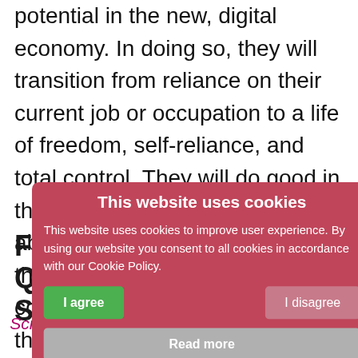potential in the new, digital economy. In doing so, they will transition from reliance on their current job or occupation to a life of freedom, self-reliance, and total control. They will do good in the world by creating wealth and abundance not only for themselves, but also for their communities and those around them.
[Figure (screenshot): Cookie consent modal overlay with pink/red background, title 'This website uses cookies', body text about cookie policy, green 'I agree' button, grey 'I disagree' button, and 'Read more' button]
FREQUENTLY ASKED QUESTIONS WITH STUART
Scroll down and click each video thumbnail to see Stuart's answers